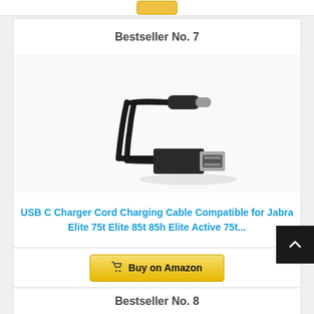[Figure (other): Partial golden Buy on Amazon button from previous product listing]
Bestseller No. 7
[Figure (photo): Black USB-C to USB-A charging cable, showing both connector ends on white/light gray background]
USB C Charger Cord Charging Cable Compatible for Jabra Elite 75t Elite 85t 85h Elite Active 75t...
[Figure (other): Buy on Amazon button (golden/yellow) with shopping cart icon]
Bestseller No. 8